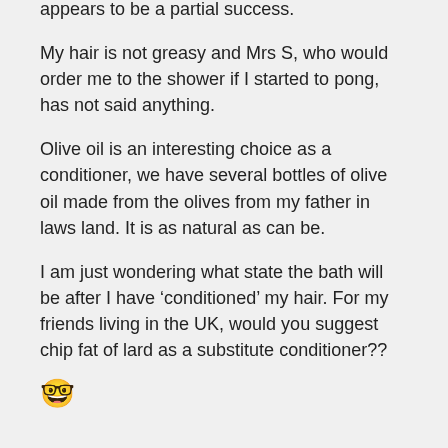appears to be a partial success.
My hair is not greasy and Mrs S, who would order me to the shower if I started to pong, has not said anything.
Olive oil is an interesting choice as a conditioner, we have several bottles of olive oil made from the olives from my father in laws land. It is as natural as can be.
I am just wondering what state the bath will be after I have ‘conditioned’ my hair. For my friends living in the UK, would you suggest chip fat of lard as a substitute conditioner??
🤓